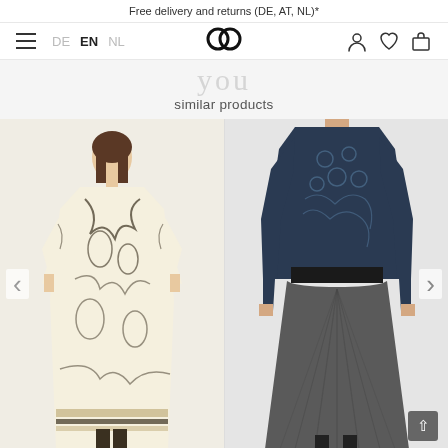Free delivery and returns (DE, AT, NL)*
[Figure (screenshot): E-commerce website navigation bar with hamburger menu, language switcher (DE, EN, NL), logo (two interlocked circles), user account icon, wishlist/heart icon, and shopping bag icon]
similar products
[Figure (photo): Fashion product photo 1: A woman wearing a long cream/beige floral printed dress with bell sleeves and dark botanical print pattern, floor-length maxi dress]
[Figure (photo): Fashion product photo 2: A woman wearing a formal evening gown with navy/dark blue lace embroidered long-sleeve top and dark charcoal grey full pleated skirt, floor-length formal dress]